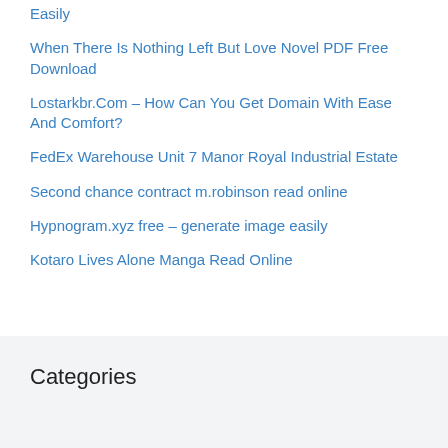Easily
When There Is Nothing Left But Love Novel PDF Free Download
Lostarkbr.Com – How Can You Get Domain With Ease And Comfort?
FedEx Warehouse Unit 7 Manor Royal Industrial Estate
Second chance contract m.robinson read online
Hypnogram.xyz free – generate image easily
Kotaro Lives Alone Manga Read Online
Categories